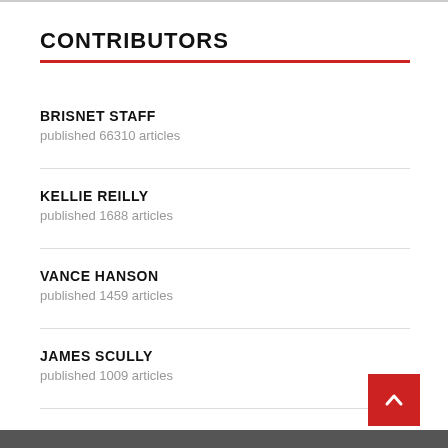CONTRIBUTORS
BRISNET STAFF
published 66310 articles
KELLIE REILLY
published 1688 articles
VANCE HANSON
published 1459 articles
JAMES SCULLY
published 1009 articles